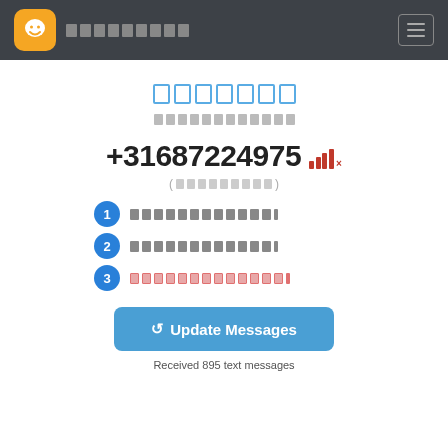[App logo] [App name] [hamburger menu]
███████
████████████
+31687224975 [signal icon]
( ████████ )
① ████████████.
② ████████████.
③ ████████████.
↺ Update Messages
Received 895 text messages